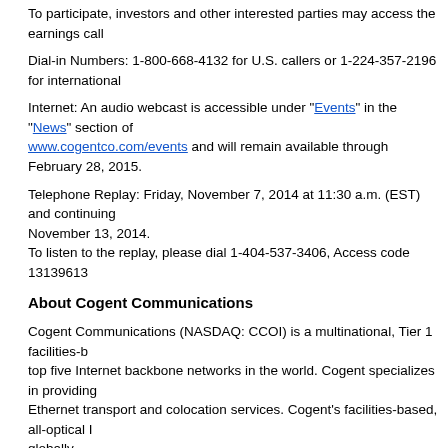To participate, investors and other interested parties may access the earnings call
Dial-in Numbers: 1-800-668-4132 for U.S. callers or 1-224-357-2196 for international callers
Internet: An audio webcast is accessible under "Events" in the "News" section of www.cogentco.com/events and will remain available through February 28, 2015.
Telephone Replay: Friday, November 7, 2014 at 11:30 a.m. (EST) and continuing through November 13, 2014.
To listen to the replay, please dial 1-404-537-3406, Access code 13139613
About Cogent Communications
Cogent Communications (NASDAQ: CCOI) is a multinational, Tier 1 facilities-based top five Internet backbone networks in the world. Cogent specializes in providing Ethernet transport and colocation services. Cogent's facilities-based, all-optical IP globally.
Since its inception, Cogent has unleashed the benefits of IP technology, building networks in the world. This network enables Cogent to offer large bandwidth com also offers superior customer support by virtue of its end-to-end control of service